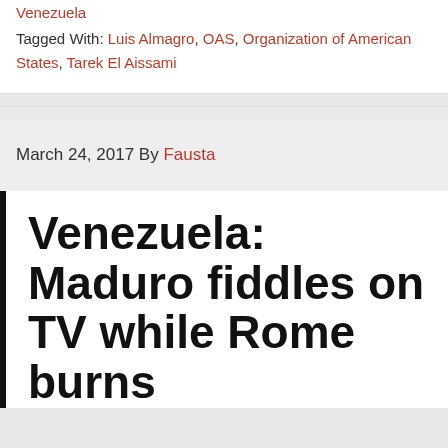Venezuela
Tagged With: Luis Almagro, OAS, Organization of American States, Tarek El Aissami
March 24, 2017 By Fausta
Venezuela: Maduro fiddles on TV while Rome burns